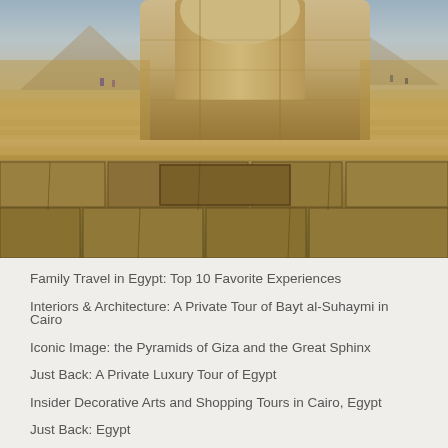[Figure (photo): Close-up photograph of the Great Sphinx of Giza with the Giza pyramids visible in the sandy background. The sphinx body and large stone blocks are prominent in the foreground under a hazy sky.]
Family Travel in Egypt: Top 10 Favorite Experiences
Interiors & Architecture: A Private Tour of Bayt al-Suhaymi in Cairo
Iconic Image: the Pyramids of Giza and the Great Sphinx
Just Back: A Private Luxury Tour of Egypt
Insider Decorative Arts and Shopping Tours in Cairo, Egypt
Just Back: Egypt
Touring the Iconic Temples & Tombs of Luxor